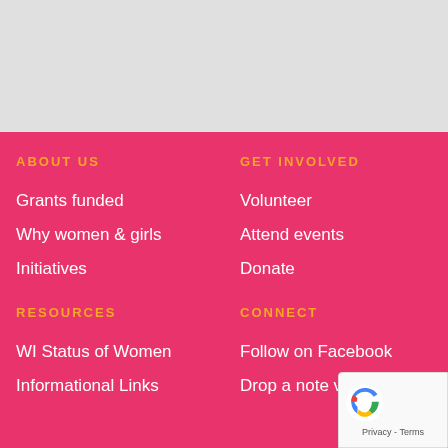[Figure (other): Gray background area at top of page]
ABOUT US
Grants funded
Why women & girls
Initiatives
RESOURCES
WI Status of Women
Informational Links
GET INVOLVED
Volunteer
Attend events
Donate
CONNECT
Follow on Facebook
Drop a note via email